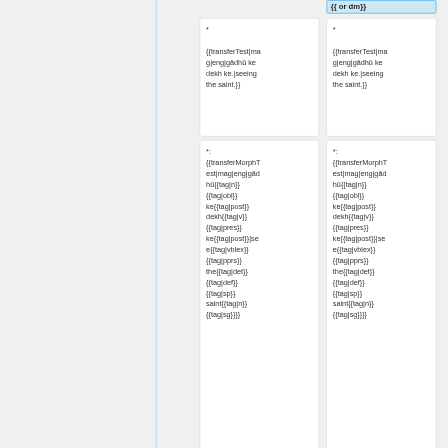*
{{transferTest|mag|eng|gādhū ke dekh ke.|seeing the saint.}}
*
{{transferTest|mag|eng|gādhū ke dekh ke.|seeing the saint.}}
*:
{{transferMorphTest|mag|eng|gādhū{{tag|n}}{{tag|obl}} ke{{tag|post}} dekh{{tag|v}}{{tag|pres}} ke{{tag|post}}|see{{tag|vblex}}{{tag|pprs}} the{{tag|det}}{{tag|def}}{{tag|sp}} saint{{tag|n}}{{tag|sg}}}}
*:
{{transferMorphTest|mag|eng|gādhū{{tag|n}}{{tag|obl}} ke{{tag|post}} dekh{{tag|v}}{{tag|pres}} ke{{tag|post}}|see{{tag|vblex}}{{tag|pprs}} the{{tag|det}}{{tag|def}}{{tag|sp}} saint{{tag|n}}{{tag|sg}}}}